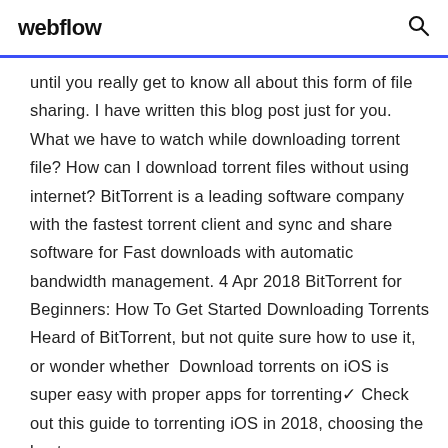webflow
until you really get to know all about this form of file sharing. I have written this blog post just for you. What we have to watch while downloading torrent file? How can I download torrent files without using internet? BitTorrent is a leading software company with the fastest torrent client and sync and share software for Fast downloads with automatic bandwidth management. 4 Apr 2018 BitTorrent for Beginners: How To Get Started Downloading Torrents Heard of BitTorrent, but not quite sure how to use it, or wonder whether  Download torrents on iOS is super easy with proper apps for torrenting✓ Check out this guide to torrenting iOS in 2018, choosing the best...